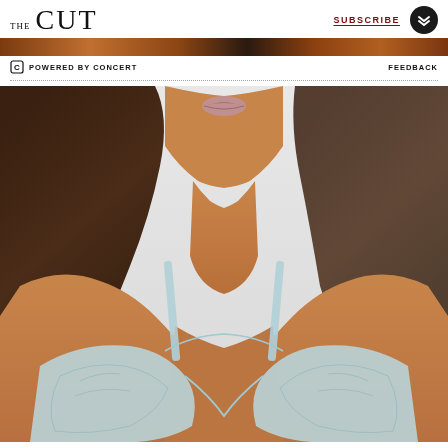THE CUT  SUBSCRIBE
[Figure (photo): Top strip showing partial product/editorial image with warm orange-brown tones]
POWERED BY CONCERT   FEEDBACK
[Figure (photo): Close-up photo of a woman from chin to chest wearing a light blue lace bralette/bra on a light grey background]